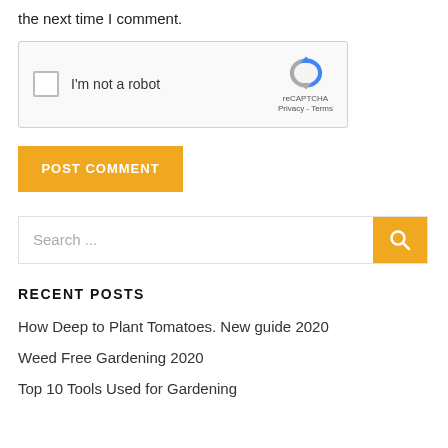the next time I comment.
[Figure (screenshot): reCAPTCHA widget with checkbox labeled 'I'm not a robot' and reCAPTCHA logo with Privacy and Terms links]
POST COMMENT
Search ...
RECENT POSTS
How Deep to Plant Tomatoes. New guide 2020
Weed Free Gardening 2020
Top 10 Tools Used for Gardening